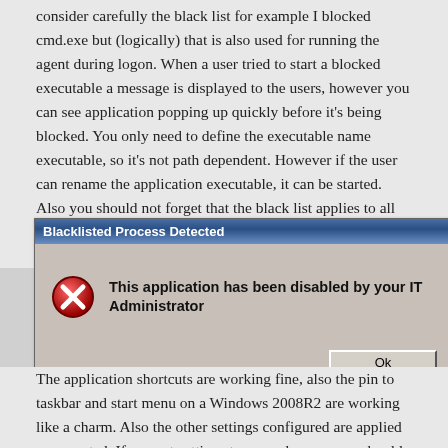consider carefully the black list for example I blocked cmd.exe but (logically) that is also used for running the agent during logon. When a user tried to start a blocked executable a message is displayed to the users, however you can see application popping up quickly before it's being blocked. You only need to define the executable name executable, so it's not path dependent. However if the user can rename the application executable, it can be started. Also you should not forget that the black list applies to all users, only an exception can be made to (the users in) the local administrators group.
[Figure (screenshot): Windows dialog box titled 'Blacklisted Process Detected' showing a red X error icon and the message 'This application has been disabled by your IT Administrator' with an Ok button.]
The application shortcuts are working fine, also the pin to taskbar and start menu on a Windows 2008R2 are working like a charm. Also the other settings configured are applied as expected. If you set settings to run only once you should find a way to store the settings of the user, for